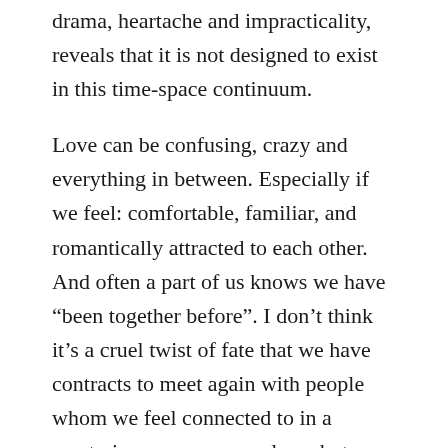drama, heartache and impracticality, reveals that it is not designed to exist in this time-space continuum.
Love can be confusing, crazy and everything in between. Especially if we feel: comfortable, familiar, and romantically attracted to each other. And often a part of us knows we have “been together before”. I don’t think it’s a cruel twist of fate that we have contracts to meet again with people whom we feel connected to in a mysterious way, or even love, but cannot be with today. It is apart of being a spiritual being in a human body. There’s a practical aspect to this: if you believe you’ve had more than one